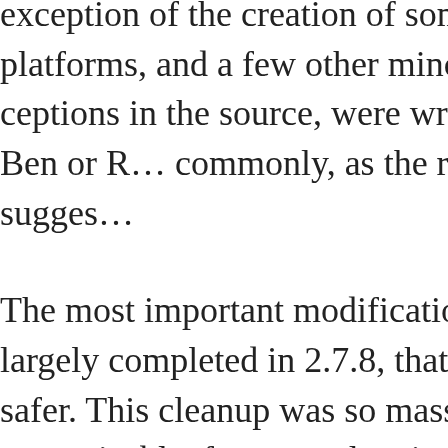exception of the creation of some of the platforms, and a few other minor exceptions in the source, were written by Ben or R... commonly, as the result of a sugges...
The most important modification was, largely completed in 2.7.8, that made safer. This cleanup was so massive recognizable, for example, via "diff -...
The second most important modification was the package, which allows Angband to be lines of code. Angband 2.9.3 thus runs including Macintosh, PowerMac, Unix 386, DOS-386, and even DOS-286.
It would be difficult to list all of the changes because many of them were made in cleanup. Many of the changes are in...